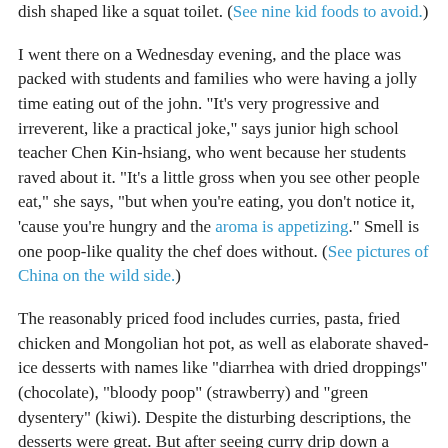dish shaped like a squat toilet. (See nine kid foods to avoid.)
I went there on a Wednesday evening, and the place was packed with students and families who were having a jolly time eating out of the john. "It's very progressive and irreverent, like a practical joke," says junior high school teacher Chen Kin-hsiang, who went because her students raved about it. "It's a little gross when you see other people eat," she says, "but when you're eating, you don't notice it, 'cause you're hungry and the aroma is appetizing." Smell is one poop-like quality the chef does without. (See pictures of China on the wild side.)
The reasonably priced food includes curries, pasta, fried chicken and Mongolian hot pot, as well as elaborate shaved-ice desserts with names like "diarrhea with dried droppings" (chocolate), "bloody poop" (strawberry) and "green dysentery" (kiwi). Despite the disturbing descriptions, the desserts were great. But after seeing curry drip down a mini-toilet, I may never have that sauce again. (See pictures of what makes you eat more food.)
The Chinese can take this, Finch muses, because they are